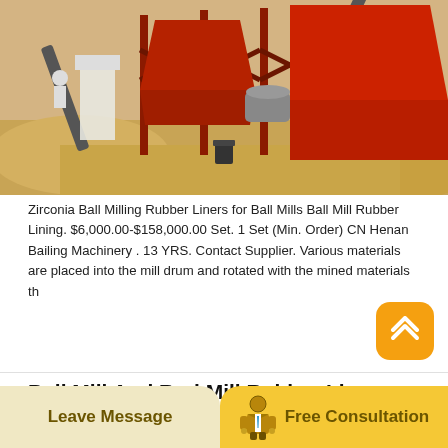[Figure (photo): Industrial ball mill / sand processing machinery with red metal frames, conveyor belts, and large hoppers at a sandy outdoor site. Workers visible on left.]
Zirconia Ball Milling Rubber Liners for Ball Mills Ball Mill Rubber Lining. $6,000.00-$158,000.00 Set. 1 Set (Min. Order) CN Henan Bailing Machinery . 13 YRS. Contact Supplier. Various materials are placed into the mill drum and rotated with the mined materials th
Ball Mill And Rod Mill Rubber Liner
Rubber Lift Bar for Grinding Mill China Mill Lifter Liner. Ball Mill Head Rubber Lifter Bar Description. Ball mill is the key equipment for grinding materials in the manufacture industries, such as cement, silicate, new building material, refractory material, fertilizer, ferrou…
[Figure (photo): Partial view of geometric/grid patterned rubber liner panels for a ball mill, bottom of page.]
Leave Message   Free Consultation